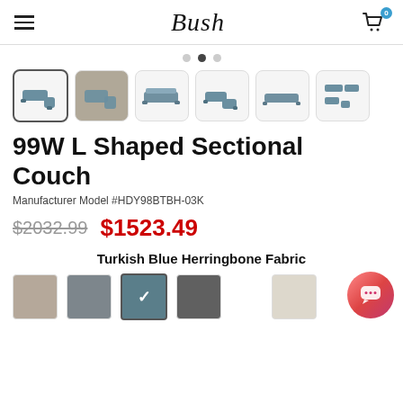Bush
[Figure (screenshot): Carousel dots with three dots, middle one active]
[Figure (photo): Six product thumbnail images of an L-shaped sectional couch from various angles, first thumbnail is selected/active]
99W L Shaped Sectional Couch
Manufacturer Model #HDY98BTBH-03K
$2032.99  $1523.49
Turkish Blue Herringbone Fabric
[Figure (other): Five fabric color swatches: taupe, medium gray, teal/Turkish blue (selected with checkmark), dark gray, cream/beige]